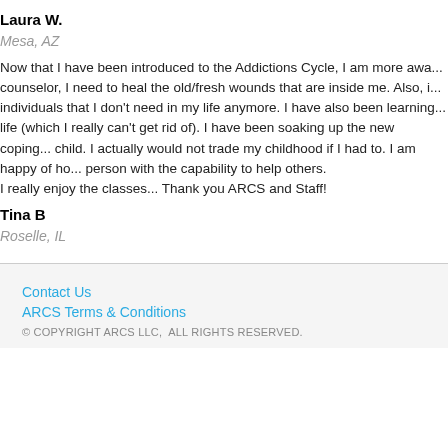Laura W.
Mesa, AZ
Now that I have been introduced to the Addictions Cycle, I am more awa... counselor, I need to heal the old/fresh wounds that are inside me. Also, i... individuals that I don't need in my life anymore. I have also been learning... life (which I really can't get rid of). I have been soaking up the new coping... child. I actually would not trade my childhood if I had to. I am happy of ho... person with the capability to help others. I really enjoy the classes... Thank you ARCS and Staff!
Tina B
Roselle, IL
Contact Us
ARCS Terms & Conditions
© COPYRIGHT ARCS LLC,  ALL RIGHTS RESERVED.